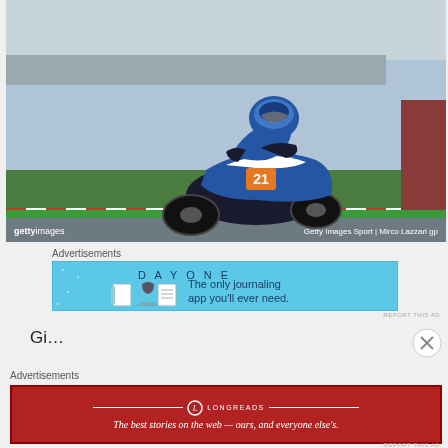[Figure (photo): A motorcycle racer wearing number 21 on a blue/white racing bike, leaning into a turn on a race track. The track has red/white curbs and green grass areas. Taken at what appears to be a MotoGP or similar motorcycle racing event.]
gettyimages   Getty Images Sport | Mirco Lazzari gp
Advertisements
[Figure (infographic): Advertisement banner for DAY ONE journaling app on a light blue background. Shows 'DAYONE' text and icons of a notebook, person, and document. Text reads: 'The only journaling app you'll ever need.']
REPORT THIS AD
Gi...
Advertisements
[Figure (infographic): Advertisement banner for Longreads on a dark red background. Shows Longreads logo and text: 'The best stories on the web — ours, and everyone else's.']
REPORT THIS AD